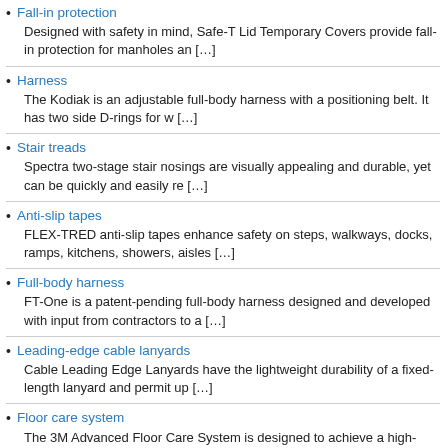Fall-in protection
Designed with safety in mind, Safe-T Lid Temporary Covers provide fall-in protection for manholes an […]
Harness
The Kodiak is an adjustable full-body harness with a positioning belt. It has two side D-rings for w […]
Stair treads
Spectra two-stage stair nosings are visually appealing and durable, yet can be quickly and easily re […]
Anti-slip tapes
FLEX-TRED anti-slip tapes enhance safety on steps, walkways, docks, ramps, kitchens, showers, aisles […]
Full-body harness
FT-One is a patent-pending full-body harness designed and developed with input from contractors to a […]
Leading-edge cable lanyards
Cable Leading Edge Lanyards have the lightweight durability of a fixed-length lanyard and permit up […]
Floor care system
The 3M Advanced Floor Care System is designed to achieve a high-gloss appearance with less labor and […]